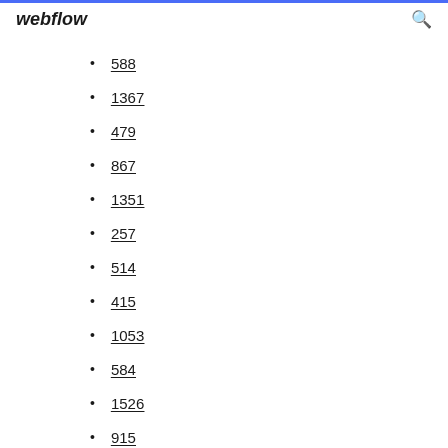webflow
588
1367
479
867
1351
257
514
415
1053
584
1526
915